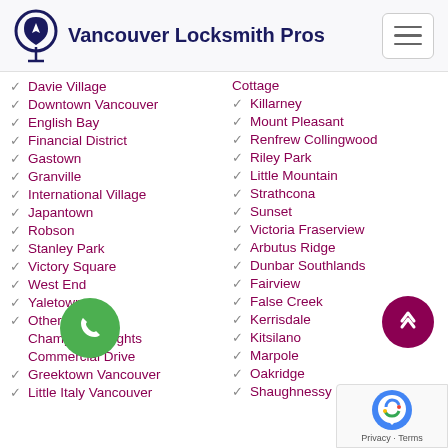Vancouver Locksmith Pros
Davie Village
Downtown Vancouver
English Bay
Financial District
Gastown
Granville
International Village
Japantown
Robson
Stanley Park
Victory Square
West End
Yaletown
Other locations
Champlain Heights
Commercial Drive
Greektown Vancouver
Little Italy Vancouver
Cottage
Killarney
Mount Pleasant
Renfrew Collingwood
Riley Park
Little Mountain
Strathcona
Sunset
Victoria Fraserview
Arbutus Ridge
Dunbar Southlands
Fairview
False Creek
Kerrisdale
Kitsilano
Marpole
Oakridge
Shaughnessy